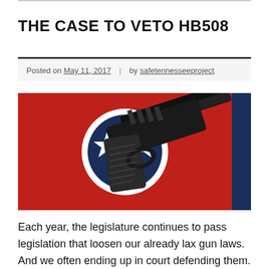THE CASE TO VETO HB508
Posted on May 11, 2017 | by safetennesseeproject
[Figure (photo): A black handgun (Glock-style pistol) positioned diagonally over a red background with the Tennessee state flag's circular blue and white tri-star symbol, and a solid dark navy blue vertical stripe on the right side.]
Each year, the legislature continues to pass legislation that loosen our already lax gun laws. And we often ending up in court defending them. Many of these laws are opposed by law enforcement, city councils and mayors whose concerns about public safety are